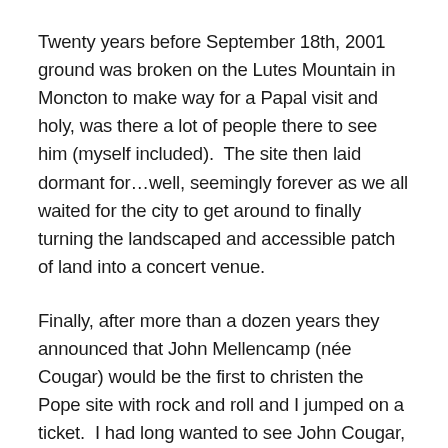Twenty years before September 18th, 2001 ground was broken on the Lutes Mountain in Moncton to make way for a Papal visit and holy, was there a lot of people there to see him (myself included).  The site then laid dormant for...well, seemingly forever as we all waited for the city to get around to finally turning the landscaped and accessible patch of land into a concert venue.
Finally, after more than a dozen years they announced that John Mellencamp (née Cougar) would be the first to christen the Pope site with rock and roll and I jumped on a ticket.  I had long wanted to see John Cougar, his music bleeds in as the soundtrack for a lot of pivotal moments in my early rock and roll